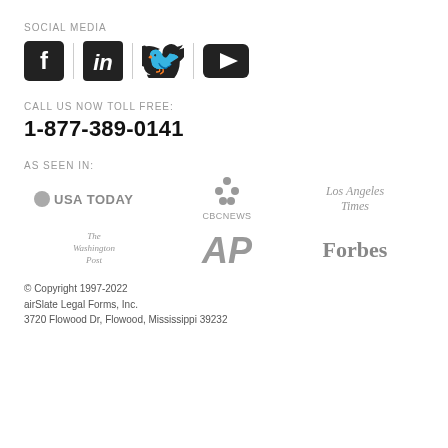SOCIAL MEDIA
[Figure (illustration): Social media icons: Facebook, LinkedIn, Twitter, YouTube]
CALL US NOW TOLL FREE:
1-877-389-0141
AS SEEN IN:
[Figure (logo): Media logos: USA TODAY, CBC News, Los Angeles Times, The Washington Post, AP, Forbes]
© Copyright 1997-2022
airSlate Legal Forms, Inc.
3720 Flowood Dr, Flowood, Mississippi 39232